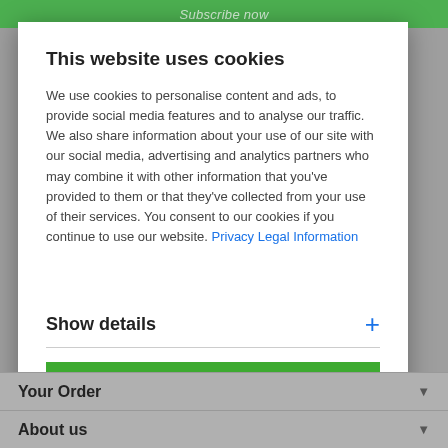Subscribe now
This website uses cookies
We use cookies to personalise content and ads, to provide social media features and to analyse our traffic. We also share information about your use of our site with our social media, advertising and analytics partners who may combine it with other information that you've provided to them or that they've collected from your use of their services. You consent to our cookies if you continue to use our website. Privacy Legal Information
Show details
Allow all cookies
Your Order
About us